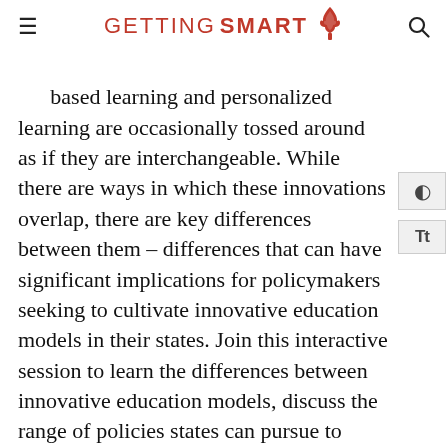GETTING SMART
based learning and personalized learning are occasionally tossed around as if they are interchangeable. While there are ways in which these innovations overlap, there are key differences between them – differences that can have significant implications for policymakers seeking to cultivate innovative education models in their states. Join this interactive session to learn the differences between innovative education models, discuss the range of policies states can pursue to encourage innovation, and explore policies and lessons learned from states with experience.
Moderator: Stacey Childress, Chief Executive Officer, NewSchools Venture Fund